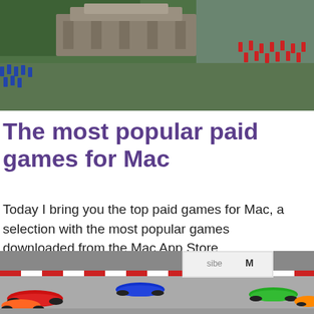[Figure (photo): Screenshot of a strategy game showing soldiers in blue and red uniforms on a battlefield with green terrain and stone fortifications, viewed from an isometric perspective.]
The most popular paid games for Mac
Today I bring you the top paid games for Mac, a selection with the most popular games downloaded from the Mac App Store
[Figure (photo): Screenshot of a cartoon-style Formula 1 racing game showing colorful cartoon race cars on a racing track with red and white curbs.]